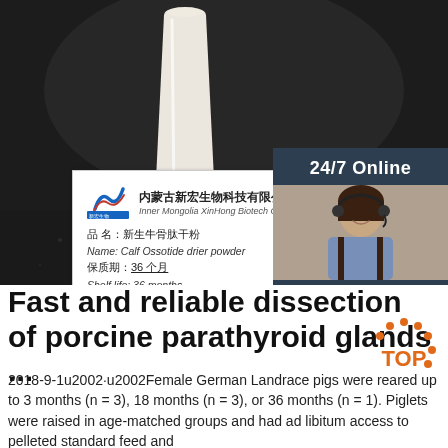[Figure (photo): Dark background with a glass of white milk/liquid and a product label card showing Inner Mongolia XinHong Biotech Company Limited, calf ossotide drier powder, shelf life 36 months. A customer service agent overlay with 24/7 Online, Click here for free chat, and QUOTATION button appears on the right side.]
Fast and reliable dissection of porcine parathyroid glands ...
2018-9-1u2002·u2002Female German Landrace pigs were reared up to 3 months (n = 3), 18 months (n = 3), or 36 months (n = 1). Piglets were raised in age-matched groups and had ad libitum access to pelleted standard feed and